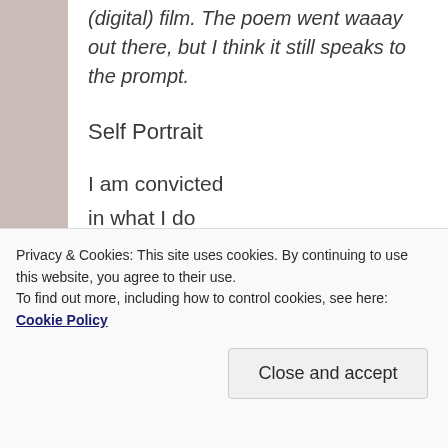(digital) film. The poem went waaay out there, but I think it still speaks to the prompt.
Self Portrait
I am convicted
in what I do
and pleading
for conceit I want
to tell you
what I see. So begins
Privacy & Cookies: This site uses cookies. By continuing to use this website, you agree to their use.
To find out more, including how to control cookies, see here: Cookie Policy
Close and accept